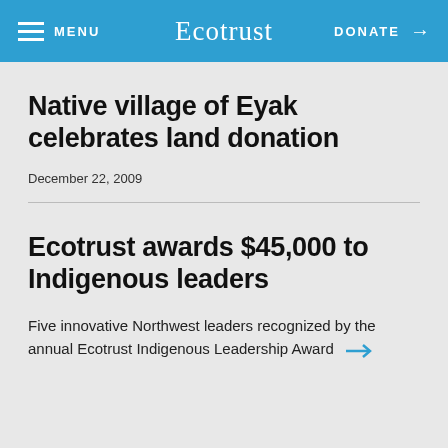MENU  Ecotrust  DONATE →
Native village of Eyak celebrates land donation
December 22, 2009
Ecotrust awards $45,000 to Indigenous leaders
Five innovative Northwest leaders recognized by the annual Ecotrust Indigenous Leadership Award →